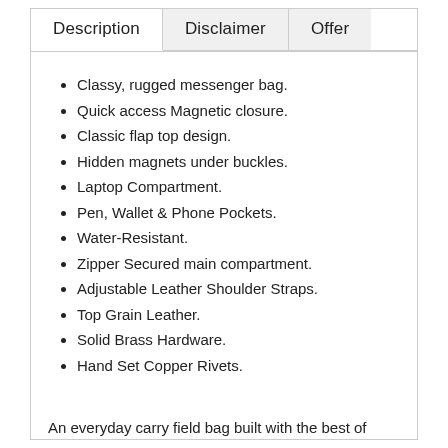| Description | Disclaimer | Offer |
| --- | --- | --- |
Classy, rugged messenger bag.
Quick access Magnetic closure.
Classic flap top design.
Hidden magnets under buckles.
Laptop Compartment.
Pen, Wallet & Phone Pockets.
Water-Resistant.
Zipper Secured main compartment.
Adjustable Leather Shoulder Straps.
Top Grain Leather.
Solid Brass Hardware.
Hand Set Copper Rivets.
An everyday carry field bag built with the best of